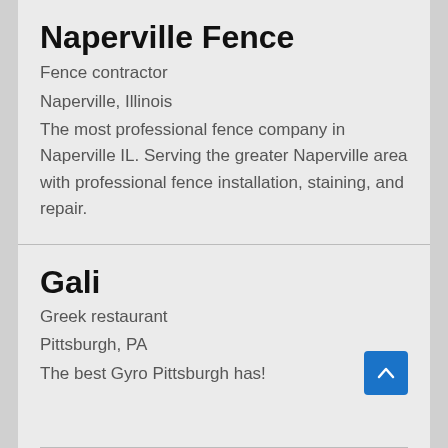Naperville Fence
Fence contractor
Naperville, Illinois
The most professional fence company in Naperville IL. Serving the greater Naperville area with professional fence installation, staining, and repair.
Gali
Greek restaurant
Pittsburgh, PA
The best Gyro Pittsburgh has!